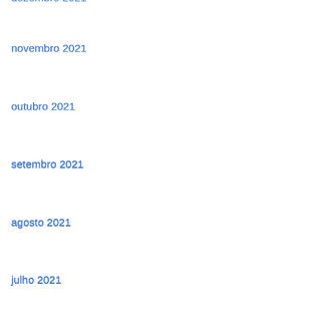dezembro 2021
novembro 2021
outubro 2021
setembro 2021
agosto 2021
julho 2021
junho 2021
maio 2021
abril 2021
março 2021
fevereiro 2021
janeiro 2021
dezembro 2020
novembro 2020